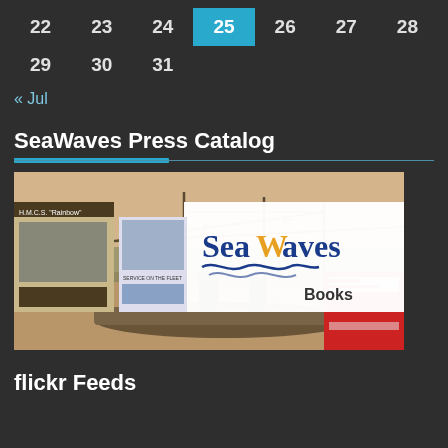| 22 | 23 | 24 | 25 | 26 | 27 | 28 |
| 29 | 30 | 31 |  |  |  |  |
« Jul
SeaWaves Press Catalog
[Figure (photo): SeaWaves Books catalog banner image showing book covers and a historical ship photograph with the SeaWaves Books logo]
flickr Feeds